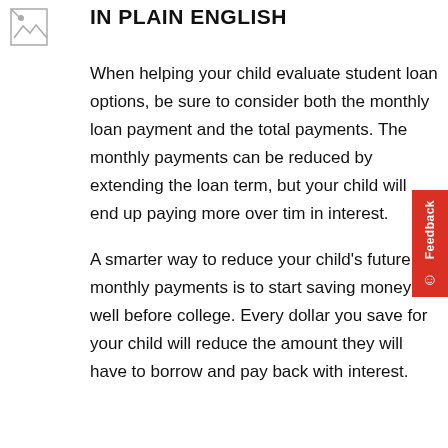[Figure (other): Small broken image icon placeholder in top left corner]
IN PLAIN ENGLISH
When helping your child evaluate student loan options, be sure to consider both the monthly loan payment and the total payments. The monthly payments can be reduced by extending the loan term, but your child will end up paying more over time in interest.
A smarter way to reduce your child's future monthly payments is to start saving money well before college. Every dollar you save for your child will reduce the amount they will have to borrow and pay back with interest.